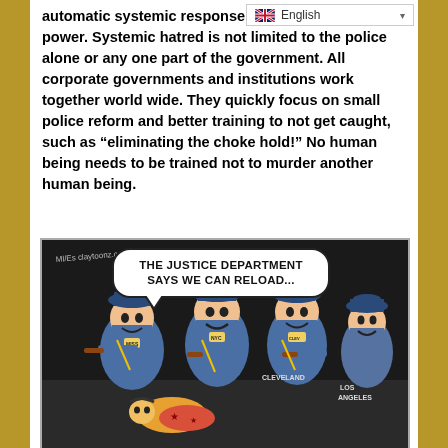[Figure (other): Language selector bar showing British flag and 'English' with dropdown arrow]
automatic systemic response to threatens their power. Systemic hatred is not limited to the police alone or any one part of the government. All corporate governments and institutions work together world wide. They quickly focus on small police reform and better training to not get caught, such as “eliminating the choke hold!” No human being needs to be trained not to murder another human being.
[Figure (illustration): Political cartoon showing four police officers labeled Missouri, NYC, Cleveland, and Los Angeles, smiling, with a speech bubble reading 'THE JUSTICE DEPARTMENT SAYS WE CAN RELOAD...' while beating a person on the ground. Cartoon signed by artist, claytoonz.com.]